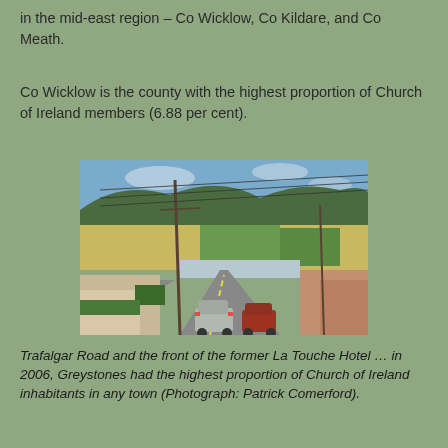in the mid-east region – Co Wicklow, Co Kildare, and Co Meath.
Co Wicklow is the county with the highest proportion of Church of Ireland members (6.88 per cent).
[Figure (photo): Street scene of Trafalgar Road, Greystones, showing cars on a road descending toward a coastal area with fields and hills in the background. Power lines cross overhead.]
Trafalgar Road and the front of the former La Touche Hotel … in 2006, Greystones had the highest proportion of Church of Ireland inhabitants in any town (Photograph: Patrick Comerford).